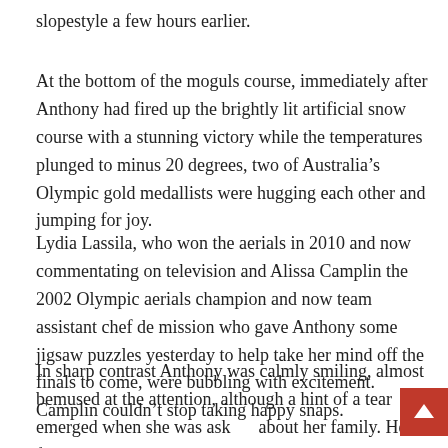slopestyle a few hours earlier.
At the bottom of the moguls course, immediately after Anthony had fired up the brightly lit artificial snow course with a stunning victory while the temperatures plunged to minus 20 degrees, two of Australia's Olympic gold medallists were hugging each other and jumping for joy.
Lydia Lassila, who won the aerials in 2010 and now commentating on television and Alissa Camplin the 2002 Olympic aerials champion and now team assistant chef de mission who gave Anthony some jigsaw puzzles yesterday to help take her mind off the finals to come, were bubbling with excitement. Camplin couldn't stop taking happy snaps.
In sharp contrast Anthony was calmly smiling, almost bemused at the attention, although a hint of a tear emerged when she was asked about her family. Her father Greg and mother Sue had met at